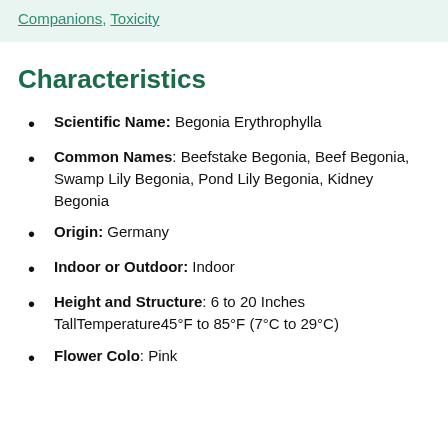Companions, Toxicity
Characteristics
Scientific Name: Begonia Erythrophylla
Common Names: Beefstake Begonia, Beef Begonia, Swamp Lily Begonia, Pond Lily Begonia, Kidney Begonia
Origin: Germany
Indoor or Outdoor: Indoor
Height and Structure: 6 to 20 Inches TallTemperature45°F to 85°F (7°C to 29°C)
Flower Colo: Pink